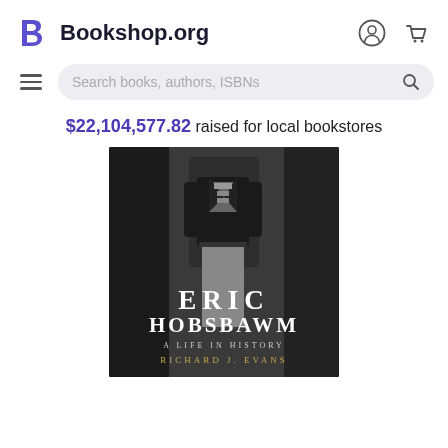[Figure (logo): Bookshop.org logo with stylized B icon and site name, plus user account and cart icons]
Search books, authors, ISBNs
$22,104,577.82 raised for local bookstores
[Figure (photo): Book cover of 'Eric Hobsbawm: A Life in History' by Richard J. Evans. Black and white photograph of a person standing, with the author's name in large white serif letters and the subtitle 'A Life in History' below, and the author's name 'Richard J. Evans' in gold at the bottom.]